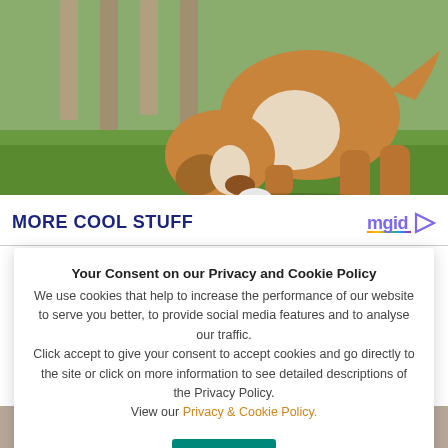[Figure (photo): A brown and white puppy bending down sniffing something on green grass, viewed from behind/side, outdoors with blurred background]
MORE COOL STUFF
Your Consent on our Privacy and Cookie Policy
We use cookies that help to increase the performance of our website to serve you better, to provide social media features and to analyse our traffic.
Click accept to give your consent to accept cookies and go directly to the site or click on more information to see detailed descriptions of the Privacy Policy.
View our Privacy & Cookie Policy.
OK
[Figure (photo): Bottom strip showing striped socks and a pizza on a checkered floor]